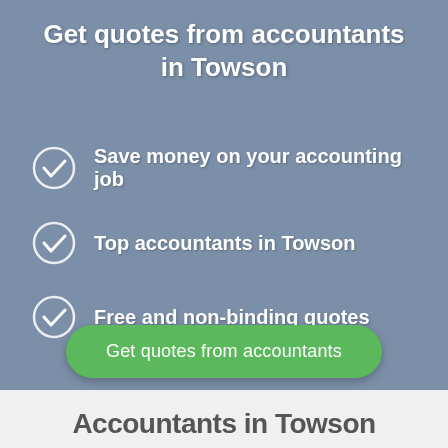Get quotes from accountants in Towson
Save money on your accounting job
Top accountants in Towson
Free and non-binding quotes
Get quotes from accountants
Accountants in Towson